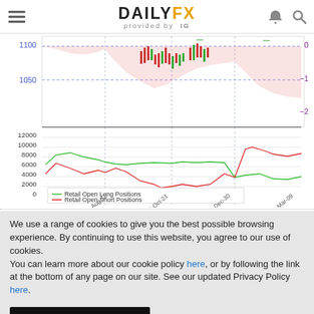DAILYFX provided by IG
[Figure (continuous-plot): Financial chart showing price (1050-1100 scale, left axis in blue) with candlestick data and pink shaded region (right axis 0 to -2 in purple), plus lower panel with Retail Open Long Positions (green line) and Retail Open Short Positions (red line) on scale 0-12000, from 2015-Aug-12 to 2016-Mar-09]
We use a range of cookies to give you the best possible browsing experience. By continuing to use this website, you agree to our use of cookies.
You can learn more about our cookie policy here, or by following the link at the bottom of any page on our site. See our updated Privacy Policy here.
Accept